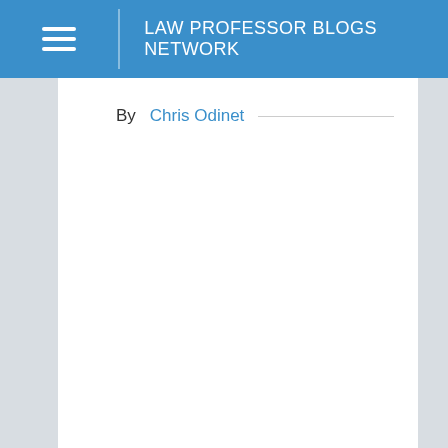LAW PROFESSOR BLOGS NETWORK
By Chris Odinet